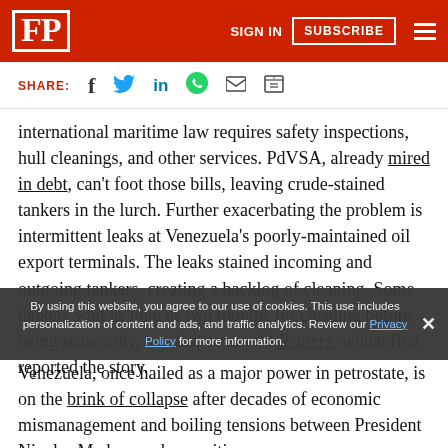FP | SIGN IN | SUBSCRIBE
SHARE:
international maritime law requires safety inspections, hull cleanings, and other services. PdVSA, already mired in debt, can't foot those bills, leaving crude-stained tankers in the lurch. Further exacerbating the problem is intermittent leaks at Venezuela's poorly-maintained oil export terminals. The leaks stained incoming and outgoing tankers, creating a backlog of cleaning. Some tankers wait as long as two months for cleaning before being seaworthy, one inspector told Reuters, which first reported the story.
By using this website, you agree to our use of cookies. This use includes personalization of content and ads, and traffic analytics. Review our Privacy Policy for more information.
Venezuela, once hailed as a major power in petrostate, is on the brink of collapse after decades of economic mismanagement and boiling tensions between President Nicolas Maduro and opposition